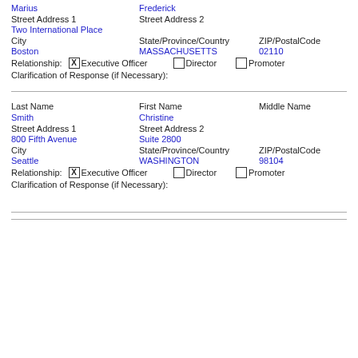Marius | Frederick
Street Address 1 | Street Address 2
Two International Place
City | State/Province/Country | ZIP/PostalCode
Boston | MASSACHUSETTS | 02110
Relationship: [X] Executive Officer  [ ] Director  [ ] Promoter
Clarification of Response (if Necessary):
Last Name | First Name | Middle Name
Smith | Christine
Street Address 1 | Street Address 2
800 Fifth Avenue | Suite 2800
City | State/Province/Country | ZIP/PostalCode
Seattle | WASHINGTON | 98104
Relationship: [X] Executive Officer  [ ] Director  [ ] Promoter
Clarification of Response (if Necessary):